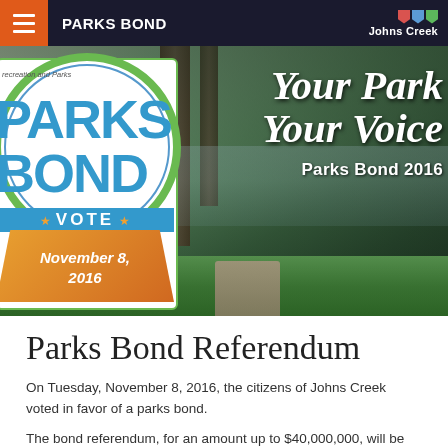PARKS BOND
[Figure (photo): Parks Bond 2016 campaign hero image. Left side shows the Parks Bond circular badge/logo with text 'Recreation and Parks', 'PARKS BOND', 'VOTE November 8, 2016'. Right side shows a park scene with cursive white text 'Your Park Your Voice' and 'Parks Bond 2016'.]
Parks Bond Referendum
On Tuesday, November 8, 2016, the citizens of Johns Creek voted in favor of a parks bond.
The bond referendum, for an amount up to $40,000,000, will be specifically used for the development and acquisition of parks and